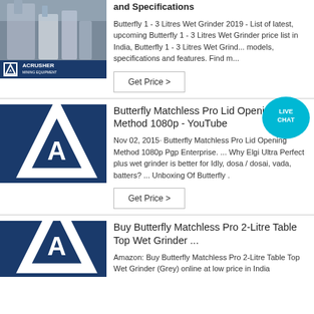[Figure (photo): Industrial mining/grinding equipment photo with ACRUSHER mining equipment badge at bottom]
and Specifications Butterfly 1 - 3 Litres Wet Grinder 2019 - List of latest, upcoming Butterfly 1 - 3 Litres Wet Grinder price list in India, Butterfly 1 - 3 Litres Wet Grinder models, specifications and features. Find m...
Get Price >
[Figure (photo): Industrial factory interior with equipment and ACRUSHER mining equipment badge at bottom]
Butterfly Matchless Pro Lid Opening Method 1080p - YouTube
Nov 02, 2015· Butterfly Matchless Pro Lid Opening Method 1080p Pgp Enterprise. ... Why Elgi Ultra Perfect plus wet grinder is better for Idly, dosa / dosai, vada, batters? ... Unboxing Of Butterfly .
Get Price >
[Figure (photo): Industrial grinding machine with yellow-green body, ACRUSHER mining equipment badge at bottom]
Buy Butterfly Matchless Pro 2-Litre Table Top Wet Grinder ...
Amazon: Buy Butterfly Matchless Pro 2-Litre Table Top Wet Grinder (Grey) online at low price in India